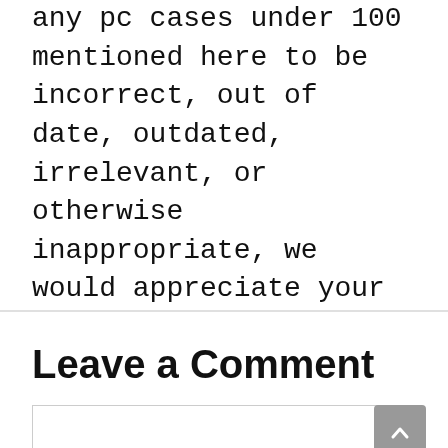any pc cases under 100 mentioned here to be incorrect, out of date, outdated, irrelevant, or otherwise inappropriate, we would appreciate your feedback. Please send us feedback and we will make regular corrections to our list in response to your reasonable comments.
Categories: Reviews
Leave a Comment